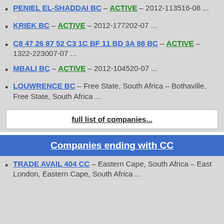PENIEL EL-SHADDAI BC – ACTIVE – 2012-113516-08 ...
KRIEK BC – ACTIVE – 2012-177202-07 ...
C8 47 26 87 52 C3 1C BF 11 BD 3A 88 BC – ACTIVE – 1322-223007-07 ...
MBALI BC – ACTIVE – 2012-104520-07 ...
LOUWRENCE BC – Free State, South Africa – Bothaville, Free State, South Africa ...
full list of companies...
Companies ending with CC
TRADE AVAIL 404 CC – Eastern Cape, South Africa – East London, Eastern Cape, South Africa ...